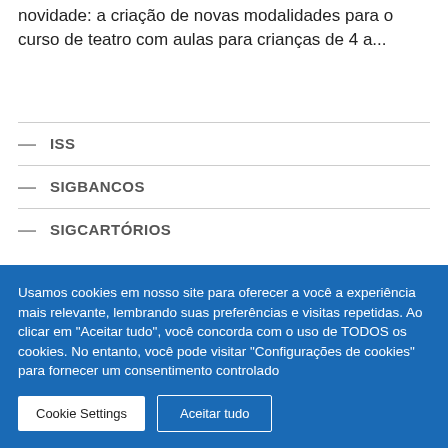novidade: a criação de novas modalidades para o curso de teatro com aulas para crianças de 4 a...
— ISS
— SIGBANCOS
— SIGCARTÓRIOS
Usamos cookies em nosso site para oferecer a você a experiência mais relevante, lembrando suas preferências e visitas repetidas. Ao clicar em "Aceitar tudo", você concorda com o uso de TODOS os cookies. No entanto, você pode visitar "Configurações de cookies" para fornecer um consentimento controlado
Cookie Settings | Aceitar tudo